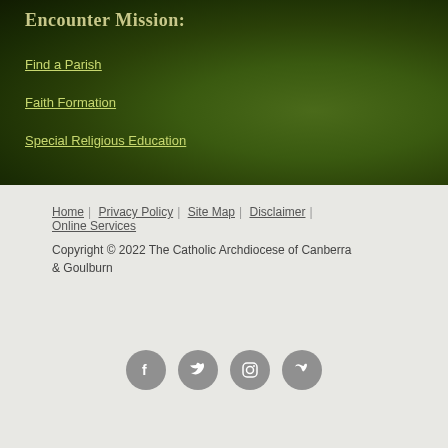Encounter Mission:
Find a Parish
Faith Formation
Special Religious Education
Home | Privacy Policy | Site Map | Disclaimer | Online Services
Copyright © 2022 The Catholic Archdiocese of Canberra & Goulburn
[Figure (infographic): Social media icons: Facebook, Twitter, Instagram, Vimeo — circular grey buttons]